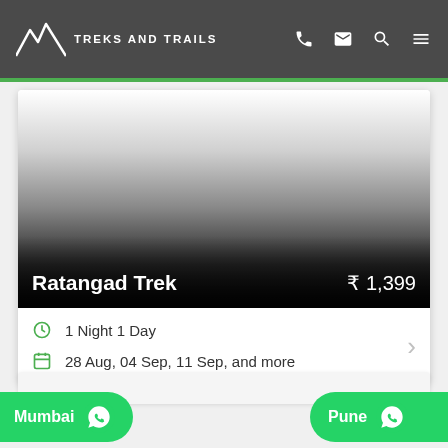TREKS AND TRAILS
[Figure (screenshot): Treks and Trails website screenshot showing a trek card for Ratangad Trek with price ₹1,399, duration 1 Night 1 Day, and dates 28 Aug, 04 Sep, 11 Sep, and more]
Ratangad Trek
₹ 1,399
1 Night 1 Day
28 Aug, 04 Sep, 11 Sep, and more
Mumbai
Pune